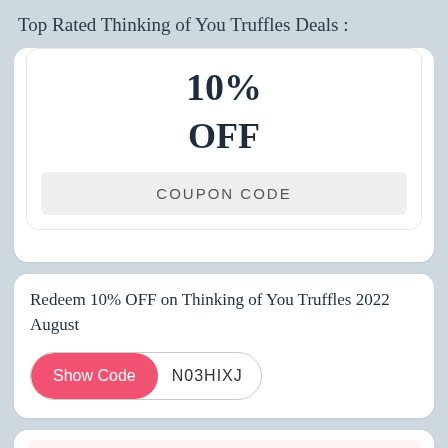Top Rated Thinking of You Truffles Deals :
[Figure (infographic): Coupon card showing 10% OFF with a COUPON CODE placeholder bar]
Redeem 10% OFF on Thinking of You Truffles 2022 August
Show Code N03HIXJ